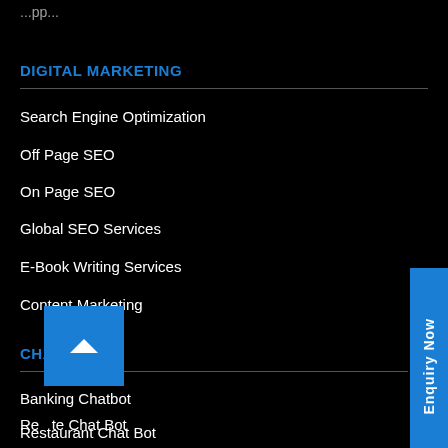...pp...
DIGITAL MARKETING
Search Engine Optimization
Off Page SEO
On Page SEO
Global SEO Services
E-Book Writing Services
Content Marketing
CHATBOT
Banking Chatbot
Re...te Chat Bot
Restaurant Chat Bot